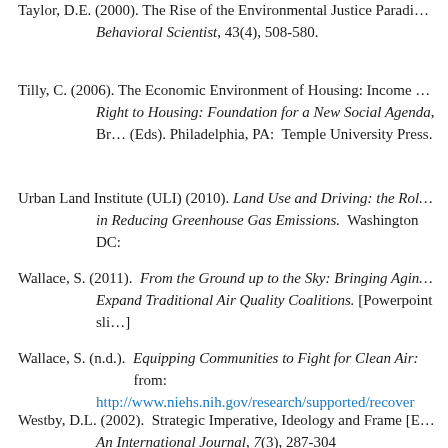Taylor, D.E. (2000).  The Rise of the Environmental Justice Paradigm. Behavioral Scientist, 43(4), 508-580.
Tilly, C. (2006).  The Economic Environment of Housing: Income and Racial Inequality.  In R. Bratt, M. Stone, & C. Hartman (Eds). Right to Housing: Foundation for a New Social Agenda, Bratt, Stone & Hartman (Eds). Philadelphia, PA:  Temple University Press.
Urban Land Institute (ULI) (2010). Land Use and Driving: the Role of Mixed Use Development in Reducing Greenhouse Gas Emissions.  Washington DC: Urban Land Institute.
Wallace, S. (2011).  From the Ground up to the Sky: Bringing Aging and Health Advocates to Expand Traditional Air Quality Coalitions. [Powerpoint slides].
Wallace, S. (n.d.).  Equipping Communities to Fight for Clean Air:  Retrieved from: http://www.niehs.nih.gov/research/supported/recover
Westby, D.L. (2002).  Strategic Imperative, Ideology and Frame [E...].  An International Journal, 7(3), 287-304